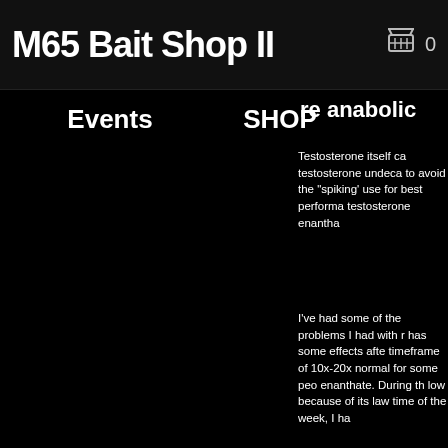M65 Bait Shop II
0
Events
SHOP
re anabolic
Testosterone itself ca testosterone undeca to avoid the "spiking' use for best performa testosterone enantha
I've had some of the problems I had with r has some effects afte timeframe of 10x-20x normal for some peo enanthate. During th low because of its law time of the week, I ha